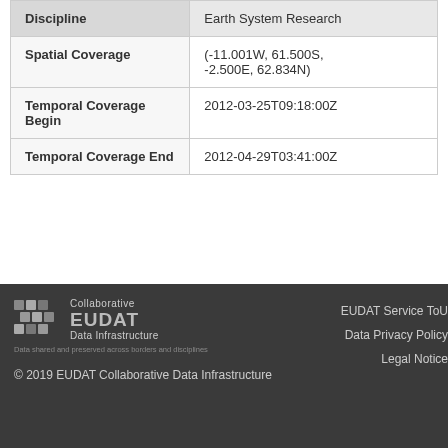| Field | Value |
| --- | --- |
| Discipline | Earth System Research |
| Spatial Coverage | (-11.001W, 61.500S, -2.500E, 62.834N) |
| Temporal Coverage Begin | 2012-03-25T09:18:00Z |
| Temporal Coverage End | 2012-04-29T03:41:00Z |
[Figure (logo): EUDAT Collaborative Data Infrastructure logo with tagline: Data shared and preserved across borders and disciplines]
© 2019 EUDAT Collaborative Data Infrastructure
EUDAT Service ToU
Data Privacy Policy
Legal Notice